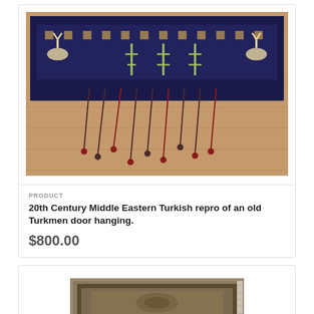[Figure (photo): Photograph of a 20th Century Middle Eastern Turkish reproduction of an old Turkmen door hanging rug, displayed on a wooden floor with tasseled fringe hanging down.]
PRODUCT
20th Century Middle Eastern Turkish repro of an old Turkmen door hanging.
$800.00
[Figure (photo): Photograph of another rug product, partially visible at bottom of page.]